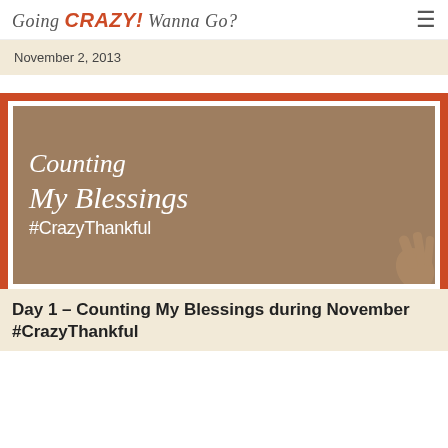Going CRAZY! Wanna Go?
November 2, 2013
[Figure (illustration): Decorative blog post featured image with terracotta/orange border, white inner border, and tan/brown center containing italic script text 'Counting My Blessings' and '#CrazyThankful' in white, with a faint hand image in the lower right corner.]
Day 1 – Counting My Blessings during November #CrazyThankful